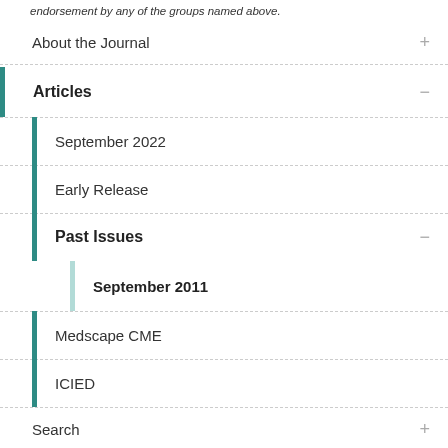endorsement by any of the groups named above.
About the Journal
Articles
September 2022
Early Release
Past Issues
September 2011
Medscape CME
ICIED
Search